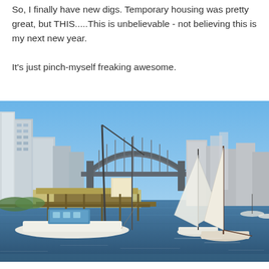So, I finally have new digs. Temporary housing was pretty great, but THIS.....This is unbelievable - not believing this is my next new year.

It's just pinch-myself freaking awesome.
[Figure (photo): A panoramic photograph of Sydney Harbour showing the iconic Sydney Harbour Bridge in the background, with boats and sailboats moored in the marina in the foreground, city skyline buildings visible on both sides, and a clear blue sky.]